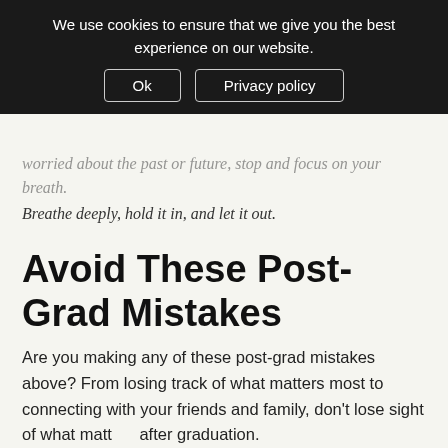We use cookies to ensure that we give you the best experience on our website. Ok  Privacy policy
worried about the past or future, stop and focus on your breath. Breathe deeply, hold it in, and let it out.
Avoid These Post-Grad Mistakes
Are you making any of these post-grad mistakes above? From losing track of what matters most to connecting with your friends and family, don't lose sight of what matters after graduation.
Life changes fast! Don't stress the little things when it comes to life after graduation. Just tackle each challenge as it comes.